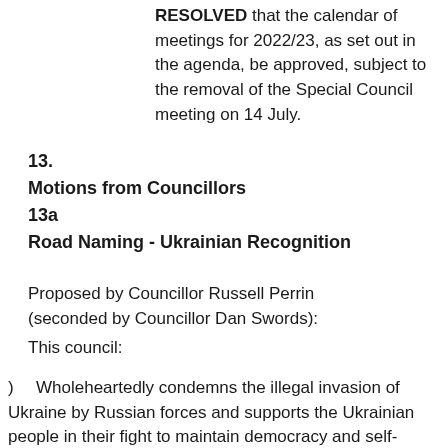RESOLVED that the calendar of meetings for 2022/23, as set out in the agenda, be approved, subject to the removal of the Special Council meeting on 14 July.
13.
Motions from Councillors
13a
Road Naming - Ukrainian Recognition
Proposed by Councillor Russell Perrin (seconded by Councillor Dan Swords):
This council:
Wholeheartedly condemns the illegal invasion of Ukraine by Russian forces and supports the Ukrainian people in their fight to maintain democracy and self-determination as a nation;